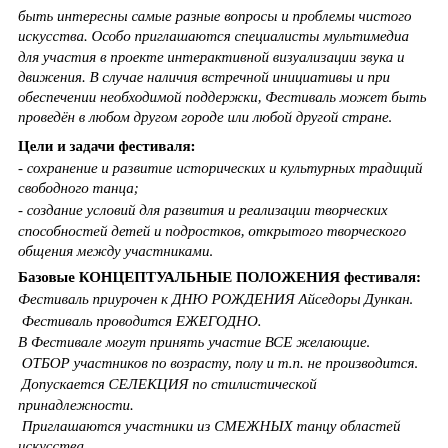быть интересны самые разные вопросы и проблемы чистого искусства. Особо приглашаются специалисты мультимедиа для участия в проекте интерактивной визуализации звука и движения. В случае наличия встречной инициативы и при обеспечении необходимой поддержки, Фестиваль может быть проведён в любом другом городе или любой другой стране.
Цели и задачи фестиваля:
- сохранение и развитие исторических и культурных традиций свободного танца;
- создание условий для развития и реализации творческих способностей детей и подростков, открытого творческого общения между участниками.
Базовые КОНЦЕПТУАЛЬНЫЕ ПОЛОЖЕНИЯ фестиваля:
Фестиваль приурочен к ДНЮ РОЖДЕНИЯ Айседоры Дункан.
Фестиваль проводится ЕЖЕГОДНО.
В Фестивале могут принять участие ВСЕ желающие.
ОТБОР участников по возрасту, полу и т.п. не производится.
Допускается СЕЛЕКЦИЯ по стилистической принадлежности.
Приглашаются участники из СМЕЖНЫХ танцу областей искусства.
Фестиваль является НЕКОММЕРЧЕСКИМ.
ВХОД СВОБОДНЫЙ.